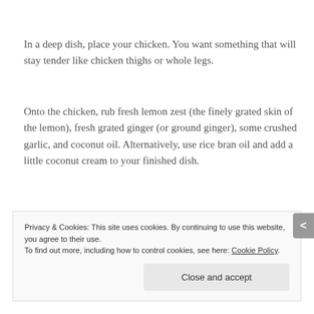In a deep dish, place your chicken. You want something that will stay tender like chicken thighs or whole legs.
Onto the chicken, rub fresh lemon zest (the finely grated skin of the lemon), fresh grated ginger (or ground ginger), some crushed garlic, and coconut oil. Alternatively, use rice bran oil and add a little coconut cream to your finished dish.
Marinate the chicken overnight to absorb the flavours. Cook until tender using your choice of BBQ, skillet, or air fyer.
Privacy & Cookies: This site uses cookies. By continuing to use this website, you agree to their use.
To find out more, including how to control cookies, see here: Cookie Policy
Close and accept